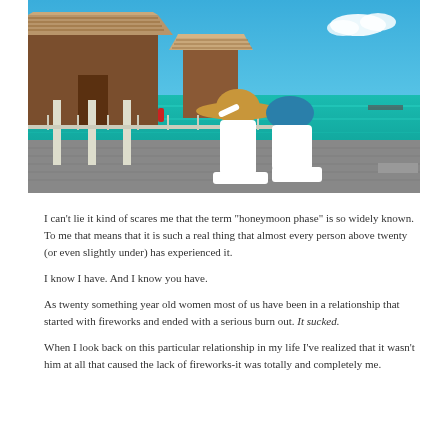[Figure (photo): Two people in white outfits sitting on a wooden dock over turquoise water, looking at overwater bungalows with thatched roofs. One person wears a large straw sun hat. Blue sky with white clouds in the background.]
I can't lie it kind of scares me that the term "honeymoon phase" is so widely known. To me that means that it is such a real thing that almost every person above twenty (or even slightly under) has experienced it.
I know I have. And I know you have.
As twenty something year old women most of us have been in a relationship that started with fireworks and ended with a serious burn out. It sucked.
When I look back on this particular relationship in my life I've realized that it wasn't him at all that caused the lack of fireworks-it was totally and completely me.